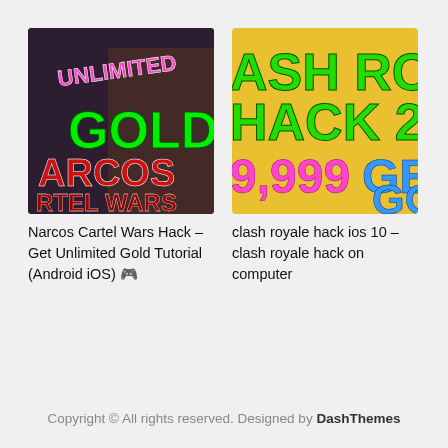[Figure (screenshot): Thumbnail for Narcos Cartel Wars game hack video showing stylized text: UNLIMITED, GOLD, ARCOS, RTEL WARS with green and red colors on dark background with a man's image]
Narcos Cartel Wars Hack – Get Unlimited Gold Tutorial (Android iOS) 🎮
[Figure (screenshot): Thumbnail for Clash Royale hack video showing text: ASH ROYAL, HACK 201, 9,999, GE, GO in green, blue, pink colors on yellow/gold background]
clash royale hack ios 10 – clash royale hack on computer
Copyright © All rights reserved. Designed by DashThemes